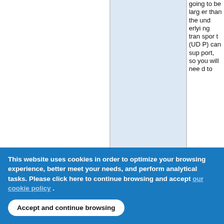going to be larger than the underlying transport (UDP) can support, so you will need to
This website uses cookies in order to optimize your browsing experience, better meet your needs, and perform analytical tasks. Please click here to continue browsing and accept our cookie policy .
Accept and continue browsing